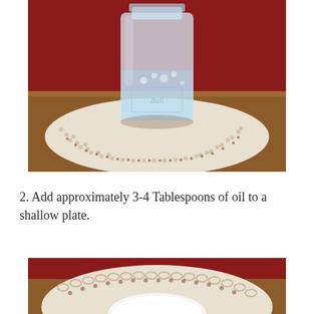[Figure (photo): A glass mason jar with water sitting on a decorative lace placemat on a wooden table with a red background.]
2. Add approximately 3-4 Tablespoons of oil to a shallow plate.
[Figure (photo): Bottom portion of an image showing a decorative lace placemat with a white shallow plate on a red table.]